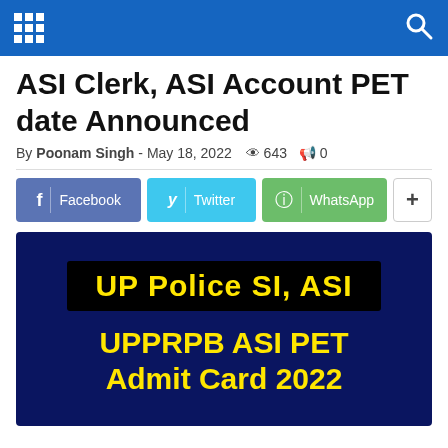Navigation bar with grid menu icon and search icon
ASI Clerk, ASI Account PET date Announced
By Poonam Singh - May 18, 2022  643  0
[Figure (infographic): Social share buttons: Facebook, Twitter, WhatsApp, and more (+)]
[Figure (infographic): Featured image with dark navy background showing text: UP Police SI, ASI and UPPRPB ASI PET Admit Card 2022 in yellow bold font]